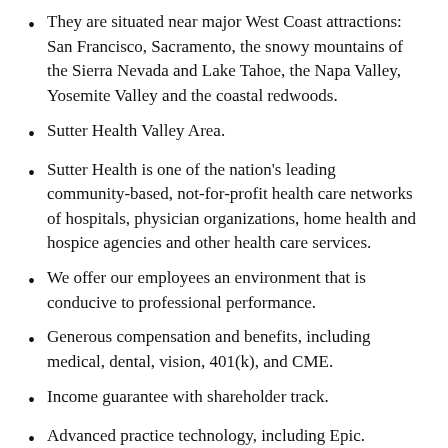They are situated near major West Coast attractions: San Francisco, Sacramento, the snowy mountains of the Sierra Nevada and Lake Tahoe, the Napa Valley, Yosemite Valley and the coastal redwoods.
Sutter Health Valley Area.
Sutter Health is one of the nation’s leading community-based, not-for-profit health care networks of hospitals, physician organizations, home health and hospice agencies and other health care services.
We offer our employees an environment that is conducive to professional performance.
Generous compensation and benefits, including medical, dental, vision, 401(k), and CME.
Income guarantee with shareholder track.
Advanced practice technology, including Epic.
Auburn is situated on the edge of the Auburn State Recreation Area and overlooks the beautiful American River Canyon which offers an abundance of outdoor experiences–horseback riding trails,